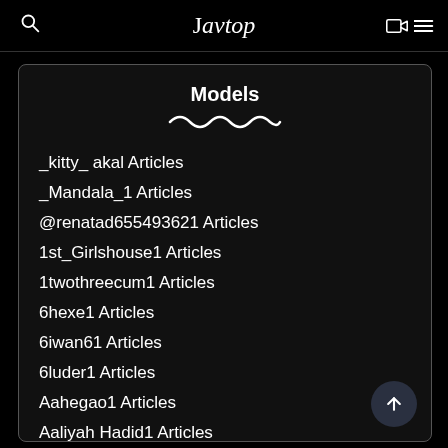Javtop
Models
_kitty_ akal Articles
_Mandala_1 Articles
@renatad655493621 Articles
1st_Girlshouse1 Articles
1twothreecum1 Articles
6hexe1 Articles
6iwan61 Articles
6luder1 Articles
Aahegao1 Articles
Aaliyah Hadid1 Articles
Abbi Secraa1 Articles
Abigail Mac1 Articles